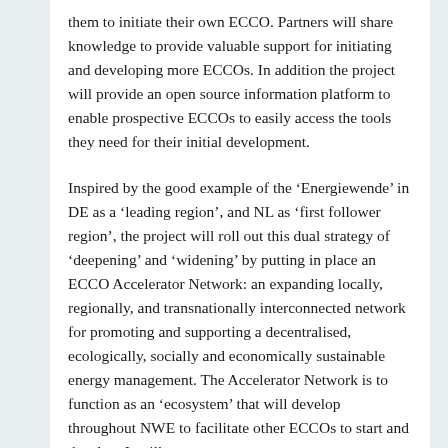them to initiate their own ECCO. Partners will share knowledge to provide valuable support for initiating and developing more ECCOs. In addition the project will provide an open source information platform to enable prospective ECCOs to easily access the tools they need for their initial development.
Inspired by the good example of the ‘Energiewende’ in DE as a ‘leading region’, and NL as ‘first follower region’, the project will roll out this dual strategy of ‘deepening’ and ‘widening’ by putting in place an ECCO Accelerator Network: an expanding locally, regionally, and transnationally interconnected network for promoting and supporting a decentralised, ecologically, socially and economically sustainable energy management. The Accelerator Network is to function as an ‘ecosystem’ that will develop throughout NWE to facilitate other ECCOs to start and develop. It will